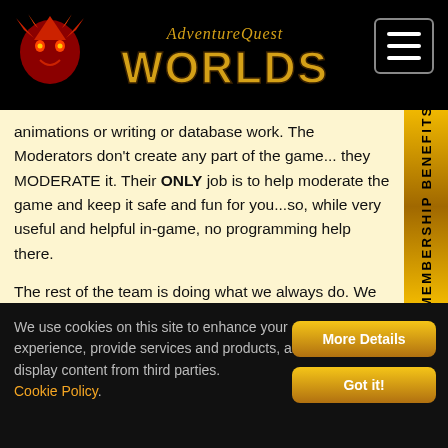AdventureQuest Worlds
animations or writing or database work. The Moderators don't create any part of the game... they MODERATE it. Their ONLY job is to help moderate the game and keep it safe and fun for you...so, while very useful and helpful in-game, no programming help there.
The rest of the team is doing what we always do. We are working as hard as we can on getting a fun release together for you to play either this Friday or sometime in the future.
We use cookies on this site to enhance your experience, provide services and products, and display content from third parties. Cookie Policy.